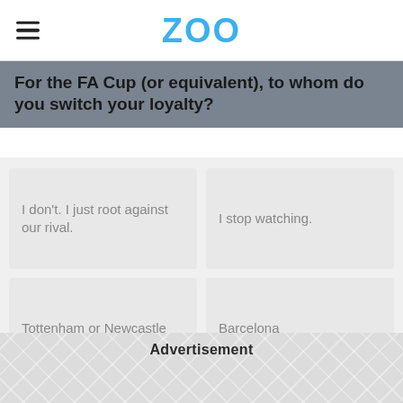ZOO
For the FA Cup (or equivalent), to whom do you switch your loyalty?
I don't. I just root against our rival.
I stop watching.
Tottenham or Newcastle
Barcelona
Advertisement